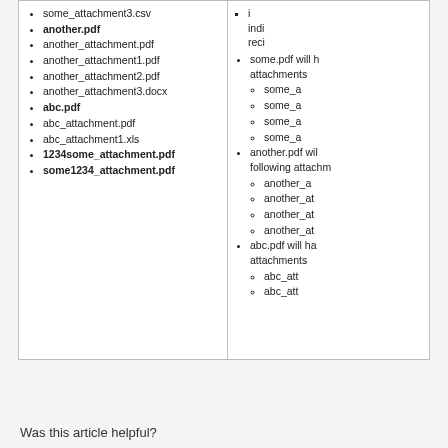some_attachment3.csv
another.pdf
another_attachment.pdf
another_attachment1.pdf
another_attachment2.pdf
another_attachment3.docx
abc.pdf
abc_attachment.pdf
abc_attachment1.xls
1234some_attachment.pdf
some1234_attachment.pdf
i indi reci
some.pdf will h attachments
some_a
some_a
some_a
some_a
another.pdf wil following attachm
another_a
another_at
another_at
another_at
abc.pdf will ha attachments
abc_att
abc_att
Was this article helpful?